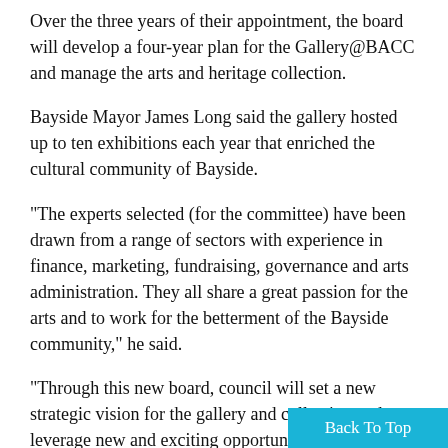Over the three years of their appointment, the board will develop a four-year plan for the Gallery@BACC and manage the arts and heritage collection.
Bayside Mayor James Long said the gallery hosted up to ten exhibitions each year that enriched the cultural community of Bayside.
“The experts selected (for the committee) have been drawn from a range of sectors with experience in finance, marketing, fundraising, governance and arts administration. They all share a great passion for the arts and to work for the betterment of the Bayside community,” he said.
“Through this new board, council will set a new strategic vision for the gallery and collection and leverage new and exciting opportunities.”
In addition to hosting displays by local artists, the Gallery@BACC also presents diverse works by non-local artists which adds to the rich arts scene of Brighton’s lo community.
Back To Top